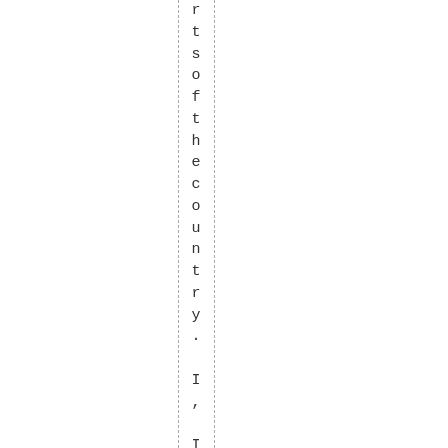rtsofthecountry. I, I I have to keep